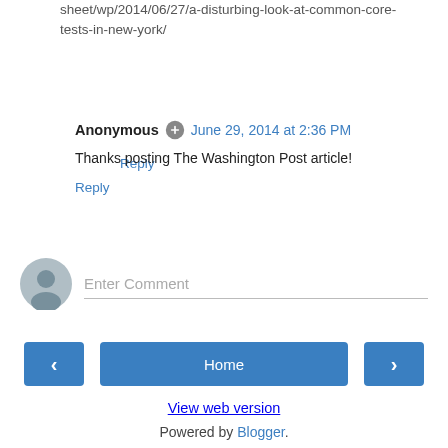sheet/wp/2014/06/27/a-disturbing-look-at-common-core-tests-in-new-york/
Reply
Anonymous  June 29, 2014 at 2:36 PM
Thanks posting The Washington Post article!
Reply
[Figure (other): Comment input area with user avatar icon and Enter Comment placeholder text field]
< Home >
View web version
Powered by Blogger.